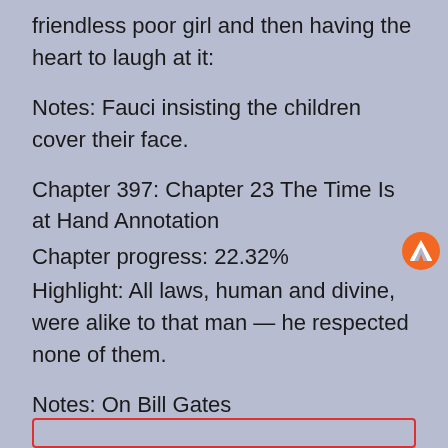friendless poor girl and then having the heart to laugh at it:
Notes: Fauci insisting the children cover their face.
Chapter 397: Chapter 23 The Time Is at Hand Annotation
Chapter progress: 22.32%
Highlight: All laws, human and divine, were alike to that man — he respected none of them.
Notes: On Bill Gates
[Figure (other): Orange Monero cryptocurrency logo icon]